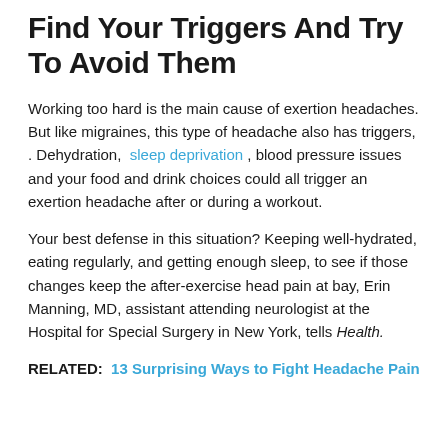Find Your Triggers And Try To Avoid Them
Working too hard is the main cause of exertion headaches. But like migraines, this type of headache also has triggers, . Dehydration,  sleep deprivation , blood pressure issues and your food and drink choices could all trigger an exertion headache after or during a workout.
Your best defense in this situation? Keeping well-hydrated, eating regularly, and getting enough sleep, to see if those changes keep the after-exercise head pain at bay, Erin Manning, MD, assistant attending neurologist at the Hospital for Special Surgery in New York, tells Health.
RELATED:  13 Surprising Ways to Fight Headache Pain